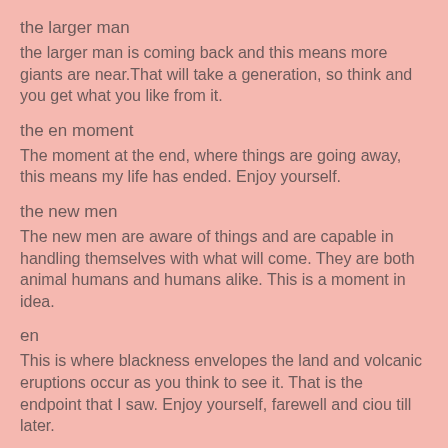the larger man
the larger man is coming back and this means more giants are near.That will take a generation, so think and you get what you like from it.
the en moment
The moment at the end, where things are going away, this means my life has ended. Enjoy yourself.
the new men
The new men are aware of things and are capable in handling themselves with what will come. They are both animal humans and humans alike. This is a moment in idea.
en
This is where blackness envelopes the land and volcanic eruptions occur as you think to see it. That is the endpoint that I saw. Enjoy yourself, farewell and ciou till later.